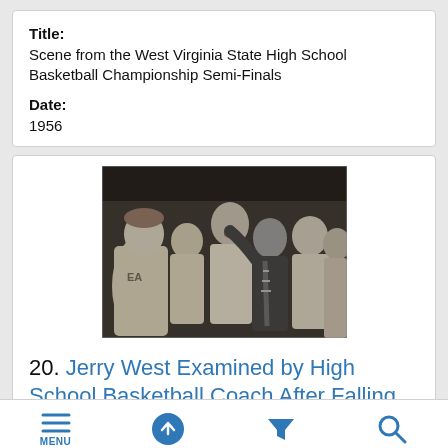Title:
Scene from the West Virginia State High School Basketball Championship Semi-Finals
Date:
1956
[Figure (photo): Black and white photograph of Jerry West being examined by a high school basketball coach after falling in a semi-final game. Several players and a coach are gathered around, with one person raising their hand near West's face.]
20. Jerry West Examined by High School Basketball Coach After Falling in Semi-Final Game
Identifier:
MENU (navigation icons: up arrow, filter, search)